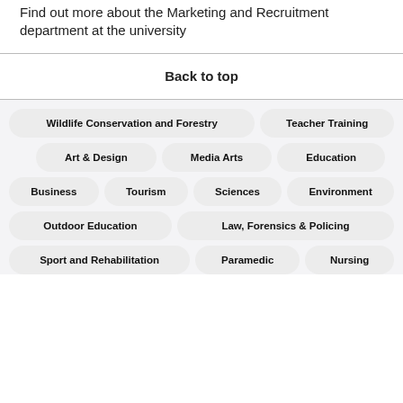Find out more about the Marketing and Recruitment department at the university
Back to top
Wildlife Conservation and Forestry
Teacher Training
Art & Design
Media Arts
Education
Business
Tourism
Sciences
Environment
Outdoor Education
Law, Forensics & Policing
Sport and Rehabilitation
Paramedic
Nursing